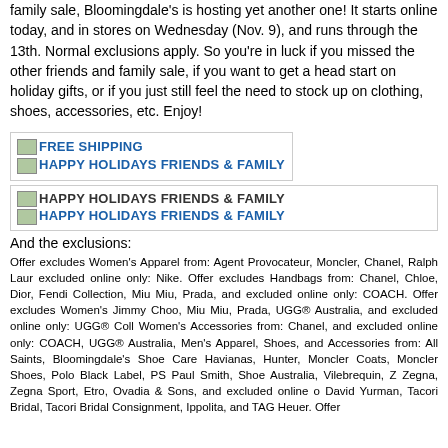family sale, Bloomingdale's is hosting yet another one! It starts online today, and in stores on Wednesday (Nov. 9), and runs through the 13th. Normal exclusions apply. So you're in luck if you missed the other friends and family sale, if you want to get a head start on holiday gifts, or if you just still feel the need to stock up on clothing, shoes, accessories, etc. Enjoy!
[Figure (screenshot): Box with links: FREE SHIPPING and HAPPY HOLIDAYS FRIENDS & FAMILY]
[Figure (screenshot): Box with links: HAPPY HOLIDAYS FRIENDS & FAMILY (two links)]
And the exclusions:
Offer excludes Women's Apparel from: Agent Provocateur, Moncler, Chanel, Ralph Lauren excluded online only: Nike. Offer excludes Handbags from: Chanel, Chloe, Dior, Fendi Collection, Miu Miu, Prada, and excluded online only: COACH. Offer excludes Women's Jimmy Choo, Miu Miu, Prada, UGG® Australia, and excluded online only: UGG® Collection Women's Accessories from: Chanel, and excluded online only: COACH, UGG® Australia, Men's Apparel, Shoes, and Accessories from: All Saints, Bloomingdale's Shoe Care Havianas, Hunter, Moncler Coats, Moncler Shoes, Polo Black Label, PS Paul Smith, Shoe Australia, Vilebrequin, Z Zegna, Zegna Sport, Etro, Ovadia & Sons, and excluded online David Yurman, Tacori Bridal, Tacori Bridal Consignment, Ippolita, and TAG Heuer. Offer